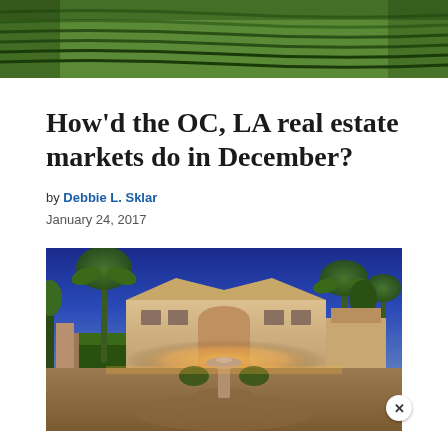[Figure (photo): Aerial view of vineyard rows on hillside, green terraced plants]
How'd the OC, LA real estate markets do in December?
by Debbie L. Sklar
January 24, 2017
[Figure (photo): Luxury estate at dusk with palm trees, fountain, illuminated entrance, blue sky background]